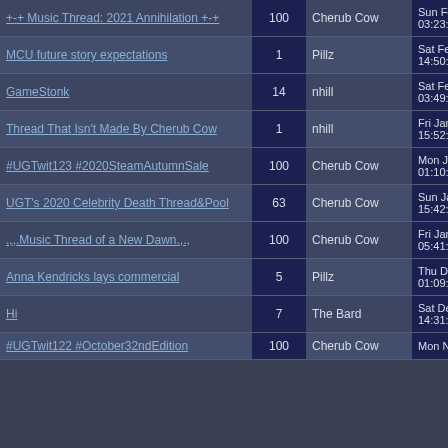| Thread Title | Replies | Author | Date |
| --- | --- | --- | --- |
| +-+ Music Thread: 2021 Annihilation +-+ | 100 | Cherub Cow | Sun Feb 28 03:23:25 |
| MCU future story expectations | 1 | Pillz | Sat Feb 20 14:50:53 |
| GameStonk | 14 | nhill | Sat Feb 06 03:49:29 |
| Thread That Isn't Made By Cherub Cow | 1 | nhill | Fri Jan 22 15:52:10 |
| #UGTwit123 #2020SteamAutumnSale | 100 | Cherub Cow | Mon Jan 18 01:10:18 |
| UGT's 2020 Celebrity Death Thread&Pool | 63 | Cherub Cow | Sun Jan 17 15:42:36 |
| .,,.Music Thread of a New Dawn.,., | 100 | Cherub Cow | Fri Jan 01 05:41:03 |
| Anna Kendricks lays commercial | 5 | Pillz | Thu Dec 24 01:09:08 |
| Hi | 7 | The Bard | Sat Dec 05 14:31:29 |
| #UGTwit122 #October32ndEdition | 100 | Cherub Cow | Mon Nov 30 |